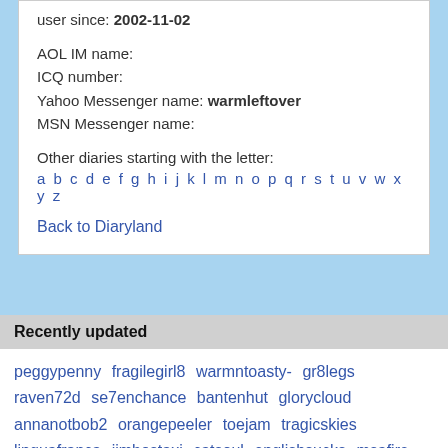user since: 2002-11-02
AOL IM name:
ICQ number:
Yahoo Messenger name: warmleftover
MSN Messenger name:
Other diaries starting with the letter:
a b c d e f g h i j k l m n o p q r s t u v w x y z
Back to Diaryland
Recently updated
peggypenny fragilegirl8 warmntoasty- gr8legs raven72d se7enchance bantenhut glorycloud annanotbob2 orangepeeler toejam tragicskies linguafranca jimbostaxi catsoul englishsucks msafire loveherwell and-i-said myramains sexychelle hitch-hike